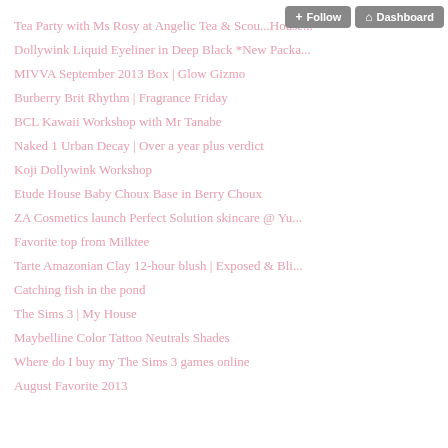Tea Party with Ms Rosy at Angelic Tea & Scou...House...
Dollywink Liquid Eyeliner in Deep Black *New Packa...
MIVVA September 2013 Box | Glow Gizmo
Burberry Brit Rhythm | Fragrance Friday
BCL Kawaii Workshop with Mr Tanabe
Naked 1 Urban Decay | Over a year plus verdict
Koji Dollywink Workshop
Etude House Baby Choux Base in Berry Choux
ZA Cosmetics launch Perfect Solution skincare @ Yu...
Favorite top from Milktee
Tarte Amazonian Clay 12-hour blush | Exposed & Bli...
Catching fish in the pond
The Sims 3 | My House
Maybelline Color Tattoo Neutrals Shades
Where do I buy my The Sims 3 games online
August Favorite 2013